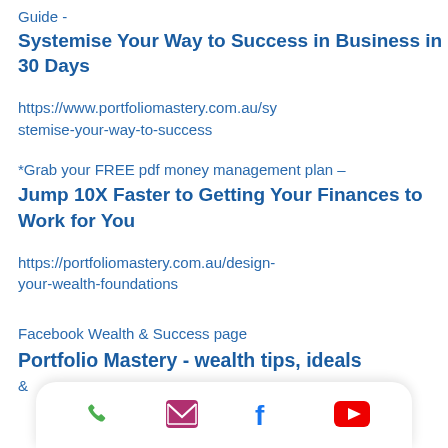Guide -
Systemise Your Way to Success in Business in 30 Days
https://www.portfoliomastery.com.au/systemise-your-way-to-success
*Grab your FREE pdf money management plan –
Jump 10X Faster to Getting Your Finances to Work for You
https://portfoliomastery.com.au/design-your-wealth-foundations
Facebook Wealth & Success page
Portfolio Mastery - wealth tips, ideals
[Figure (other): Mobile toolbar with phone, email, Facebook, and YouTube icons]